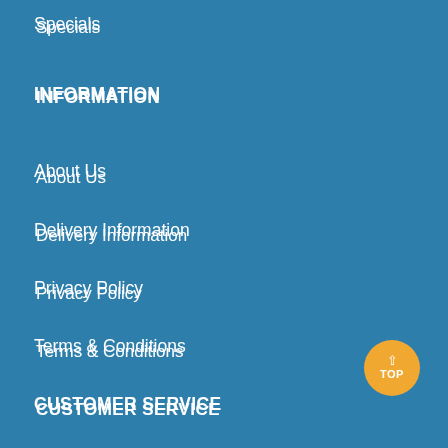Specials
INFORMATION
About Us
Delivery Information
Privacy Policy
Terms & Conditions
CUSTOMER SERVICE
Contact Us
Site Map
Brands
Gift voucher
BUSINESS HOURS
Monday - Friday: 10am - 4pm